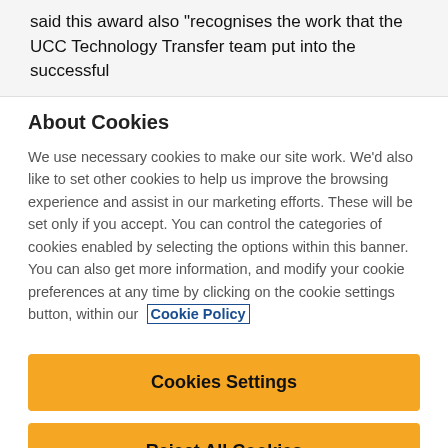said this award also “recognises the work that the UCC Technology Transfer team put into the successful
About Cookies
We use necessary cookies to make our site work. We’d also like to set other cookies to help us improve the browsing experience and assist in our marketing efforts. These will be set only if you accept. You can control the categories of cookies enabled by selecting the options within this banner. You can also get more information, and modify your cookie preferences at any time by clicking on the cookie settings button, within our  Cookie Policy
Cookies Settings
Reject All Cookies